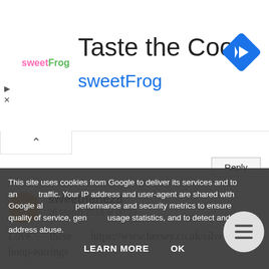[Figure (infographic): SweetFrog advertisement banner with logo, 'Taste the Cool' headline, brand name 'sweetFrog' in teal, and a blue diamond navigation arrow icon on the right.]
sweetnene28
26 March 2019 at 00:23
Love these https://www.hersey.co.uk/silver-creole-hoop-earrings
This site uses cookies from Google to deliver its services and to analyze traffic. Your IP address and user-agent are shared with Google along with performance and security metrics to ensure quality of service, generate usage statistics, and to detect and address abuse.
LEARN MORE   OK
Angela Kelly
I love this ring: https://www.hersey.co.uk/silver-cocktail-ring-oval-curved